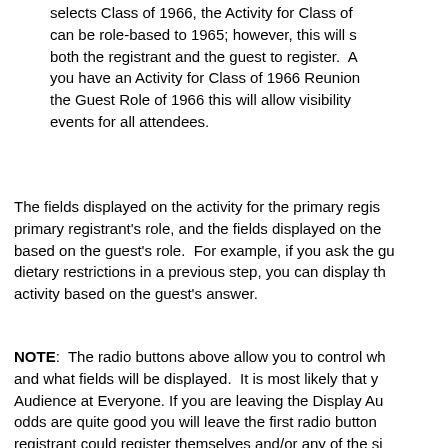For example, if the registrant selects Class of 1966, the Activity for Class of can be role-based to 1965; however, this will s both the registrant and the guest to register.  A you have an Activity for Class of 1966 Reunion the Guest Role of 1966 this will allow visibility events for all attendees.
The fields displayed on the activity for the primary regis primary registrant's role, and the fields displayed on the based on the guest's role.  For example, if you ask the gu dietary restrictions in a previous step, you can display th activity based on the guest's answer.
NOTE:  The radio buttons above allow you to control wh and what fields will be displayed.  It is most likely that y Audience at Everyone. If you are leaving the Display Au odds are quite good you will leave the first radio button registrant could register themselves and/or any of the si